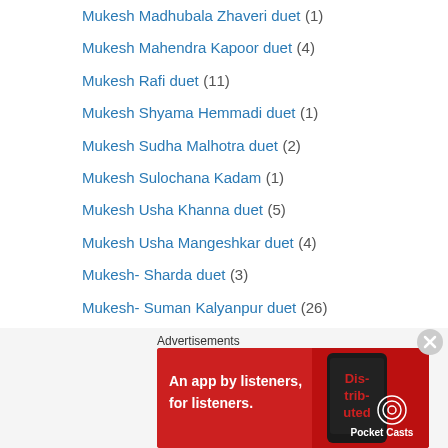Mukesh Madhubala Zhaveri duet (1)
Mukesh Mahendra Kapoor duet (4)
Mukesh Rafi duet (11)
Mukesh Shyama Hemmadi duet (1)
Mukesh Sudha Malhotra duet (2)
Mukesh Sulochana Kadam (1)
Mukesh Usha Khanna duet (5)
Mukesh Usha Mangeshkar duet (4)
Mukesh- Sharda duet (3)
Mukesh- Suman Kalyanpur duet (26)
Mukesh-Asha Bhonsle duet (42)
Mukesh-Lata duet (142)
Mukesh-Surinder Kaur duet (5)
Naseem Banu – Ratanbai Duet (1)
Nirmala Devi- Sudha Malhotra duet (1)
Nirmala Devi-Rafi duet (1)
Advertisements
[Figure (other): Pocket Casts advertisement banner: red background with text 'An app by listeners, for listeners.' and Pocket Casts logo]